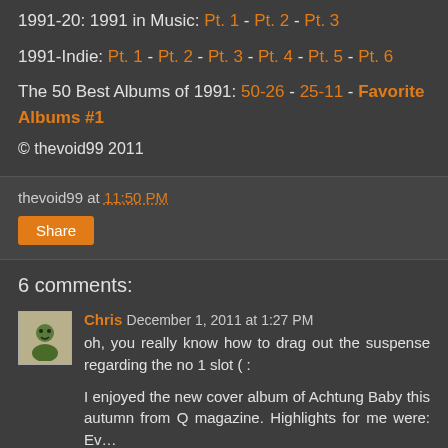1991-20: 1991 in Music: Pt. 1 - Pt. 2 - Pt. 3
1991-Indie: Pt. 1 - Pt. 2 - Pt. 3 - Pt. 4 - Pt. 5 - Pt. 6
The 50 Best Albums of 1991: 50-26 - 25-11 - Favorite Albums #1
© thevoid99 2011
thevoid99 at 11:50 PM
Share
6 comments:
Chris December 1, 2011 at 1:27 PM
oh, you really know how to drag out the suspense regarding the no 1 slot ( :
I enjoyed the new cover album of Achtung Baby this autumn from Q magazine. Highlights for me were: Ev…